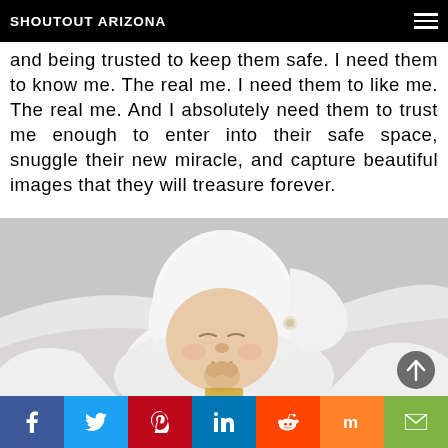SHOUTOUT ARIZONA
and being trusted to keep them safe. I need them to know me. The real me. I need them to like me. The real me. And I absolutely need them to trust me enough to enter into their safe space, snuggle their new miracle, and capture beautiful images that they will treasure forever.
[Figure (photo): A sleeping newborn baby wearing a white knit hat, swaddled in white fabric, photographed on a light gray background.]
Social share buttons: Facebook, Twitter, Pinterest, LinkedIn, Reddit, Mix, Email